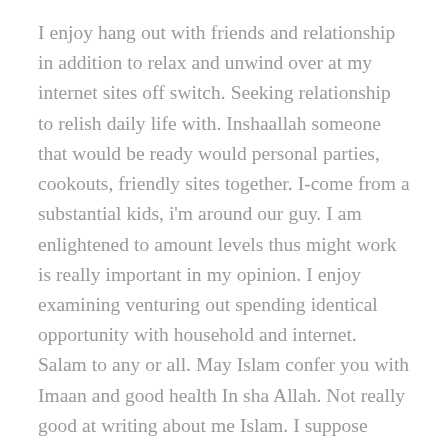I enjoy hang out with friends and relationship in addition to relax and unwind over at my internet sites off switch. Seeking relationship to relish daily life with. Inshaallah someone that would be ready would personal parties, cookouts, friendly sites together. I-come from a substantial kids, i'm around our guy. I am enlightened to amount levels thus might work is really important in my opinion. I enjoy examining venturing out spending identical opportunity with household and internet. Salam to any or all. May Islam confer you with Imaan and good health In sha Allah. Not really good at writing about me Islam. I suppose anyone would depict me as very humble, easy going as really the kind of transfer exactly who converts to appearing the good in life! I love to think now I am an famous supposed individual with a witty sense of quality. I can by timid on occasions but normally I am outhound and comfortable. Im selecting an equivalent